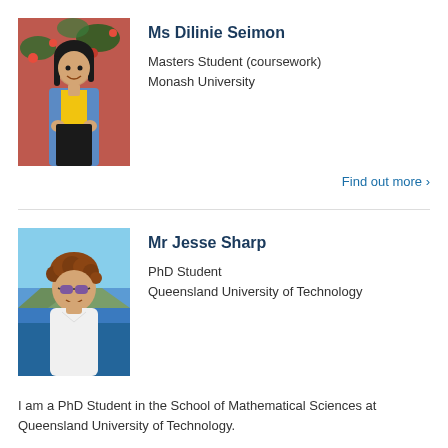[Figure (photo): Photo of Ms Dilinie Seimon, a young woman smiling outdoors with flowers in the background, wearing a blue denim jacket and yellow top.]
Ms Dilinie Seimon
Masters Student (coursework)
Monash University
Find out more >
[Figure (photo): Photo of Mr Jesse Sharp, a young man with curly brown hair, wearing sunglasses and a white t-shirt, outdoors near water.]
Mr Jesse Sharp
PhD Student
Queensland University of Technology
I am a PhD Student in the School of Mathematical Sciences at Queensland University of Technology.
Find out more >